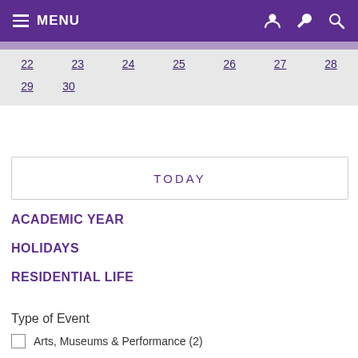MENU
| 22 | 23 | 24 | 25 | 26 | 27 | 28 |
| 29 | 30 |  |  |  |  |  |
TODAY
ACADEMIC YEAR
HOLIDAYS
RESIDENTIAL LIFE
Type of Event
Arts, Museums & Performance (2)